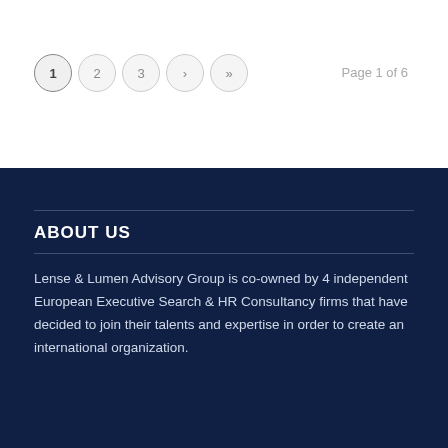1  2  3  ›  »   Page 1 of 6
ABOUT US
Lense & Lumen Advisory Group is co-owned by 4 independent European Executive Search & HR Consultancy firms that have decided to join their talents and expertise in order to create an international organization.